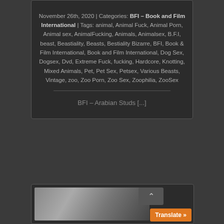November 26th, 2020 | Categories: BFI - Book and Film International | Tags: animal, Animal Fuck, Animal Porn, Animal sex, AnimalFucking, Animals, Animalsex, B.F.I, beast, Beastiality, Beasts, Bestiality Bizarre, BFI, Book & Film International, Book and Film International, Dog Sex, Dogsex, Dvd, Extreme Fuck, fucking, Hardcore, Knotting, Mixed Animals, Pet, Pet Sex, Petsex, Various Beasts, Vintage, zoo, Zoo Porn, Zoo Sex, Zoophilia, ZooSex
BFI – Arabian Studs [...]
[Figure (photo): Partial photo visible at bottom of page, dark tones]